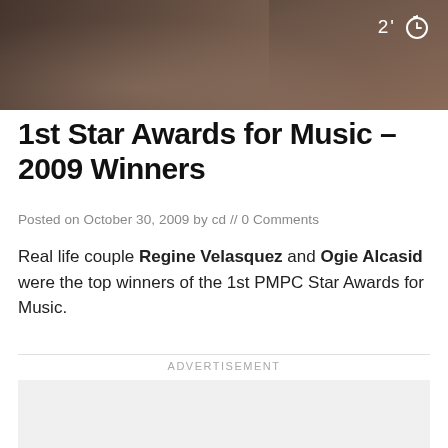[Figure (photo): Dark photo of people, partially visible, used as header image with a timer badge showing '2' and a stopwatch icon in the top right corner]
1st Star Awards for Music – 2009 Winners
Posted on October 30, 2009 by cd // 0 Comments
Real life couple Regine Velasquez and Ogie Alcasid were the top winners of the 1st PMPC Star Awards for Music.
ADVERTISEMENT